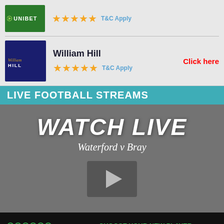[Figure (logo): Unibet green logo with 5 gold stars and T&C Apply text]
[Figure (logo): William Hill dark blue logo with 5 gold stars, Click here button, and T&C Apply text]
LIVE FOOTBALL STREAMS
WATCH LIVE
Waterford v Bray
[Figure (illustration): Play button icon on dark grey background]
[Figure (logo): Unibet logo on black bar]
GET IT NOW
CHOOSE YOUR NEW PLAYER SPECIAL BONUS